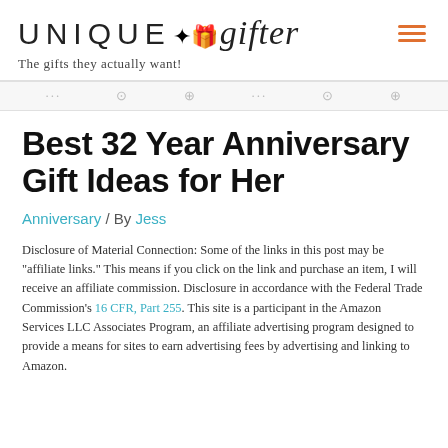UNIQUE gifter — The gifts they actually want!
Best 32 Year Anniversary Gift Ideas for Her
Anniversary / By Jess
Disclosure of Material Connection: Some of the links in this post may be "affiliate links." This means if you click on the link and purchase an item, I will receive an affiliate commission. Disclosure in accordance with the Federal Trade Commission's 16 CFR, Part 255. This site is a participant in the Amazon Services LLC Associates Program, an affiliate advertising program designed to provide a means for sites to earn advertising fees by advertising and linking to Amazon.